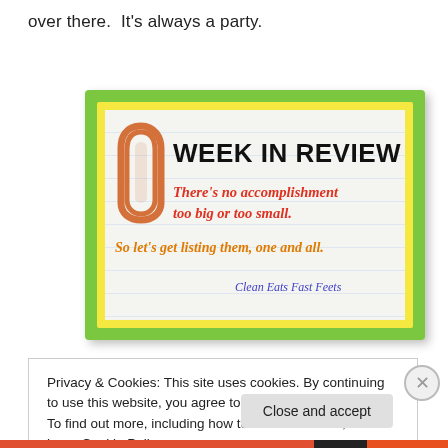over there.  It’s always a party.
[Figure (illustration): Week In Review banner image with green and yellow border, showing a paperclip on lined paper with text: WEEK IN REVIEW / There’s no accomplishment too big or too small. / So let’s get listing them, one and all. / Clean Eats Fast Feets]
Privacy & Cookies: This site uses cookies. By continuing to use this website, you agree to their use.
To find out more, including how to control cookies, see here: Cookie Policy